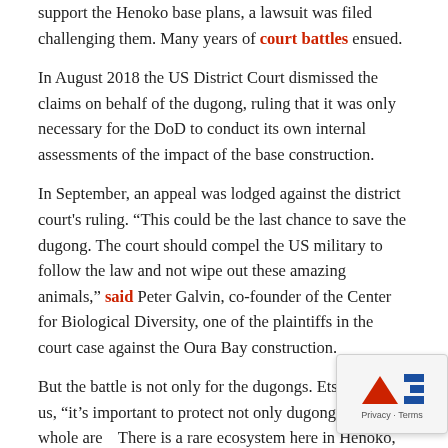support the Henoko base plans, a lawsuit was filed challenging them. Many years of court battles ensued.
In August 2018 the US District Court dismissed the claims on behalf of the dugong, ruling that it was only necessary for the DoD to conduct its own internal assessments of the impact of the base construction.
In September, an appeal was lodged against the district court's ruling. “This could be the last chance to save the dugong. The court should compel the US military to follow the law and not wipe out these amazing animals,” said Peter Galvin, co-founder of the Center for Biological Diversity, one of the plaintiffs in the court case against the Oura Bay construction.
But the battle is not only for the dugongs. Etsuko tells us, “it’s important to protect not only dugongs but the whole area. There is a rare ecosystem here in Henoko, where ocean, and forest meet.”